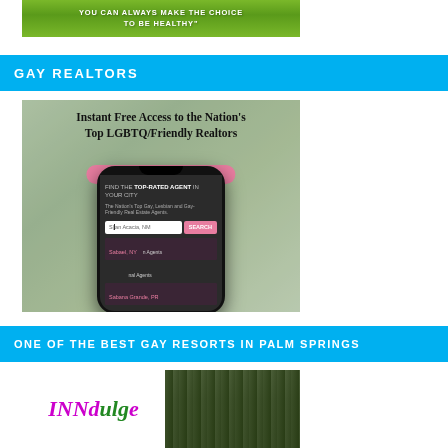[Figure (illustration): Green banner with white text: 'YOU CAN ALWAYS MAKE THE CHOICE TO BE HEALTHY']
GAY REALTORS
[Figure (photo): Advertisement for LGBTQ-friendly realtors showing: 'Instant Free Access to the Nation's Top LGBTQ/Friendly Realtors', 'NO COST OR OBLIGATION.' button, and a smartphone mockup displaying 'FIND THE TOP-RATED AGENT IN YOUR CITY', 'The Nation's Top Gay, Lesbian and Gay-Friendly Real Estate Agents.' with a search interface showing 'San Acacia, NM', 'SEARCH' button, and suggestions 'Sabael, NY', 'Sabana Grande, PR']
ONE OF THE BEST GAY RESORTS IN PALM SPRINGS
[Figure (photo): INNdulge resort logo and entrance photo]